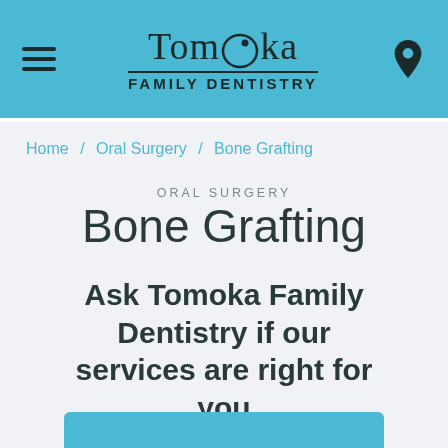[Figure (logo): Tomoka Family Dentistry logo with hamburger menu icon on left and location pin icon on right, on teal/sky-blue header background]
Home / Oral Surgery / Bone Grafting
ORAL SURGERY
Bone Grafting
Ask Tomoka Family Dentistry if our services are right for you